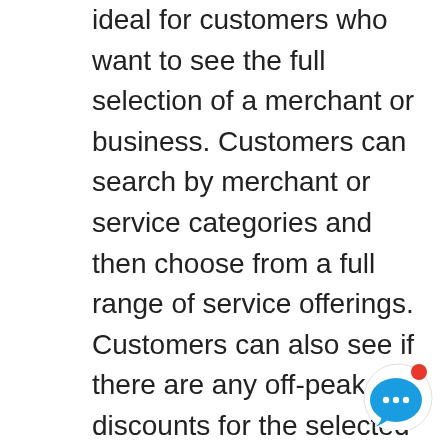ideal for customers who want to see the full selection of a merchant or business. Customers can search by merchant or service categories and then choose from a full range of service offerings. Customers can also see if there are any off-peak discounts for the selected service(s). Customer will book the appointment for the specific date and time.
Tropika Club Magazine – Get the latest scoop on beauty, wellness, eats and all things Singaporean. Tropika Club Magazine crafts and curates articles for the discerning Singapore male and female. We provide up-to-
[Figure (other): Blue speech bubble chat icon with red notification dot in upper right corner]